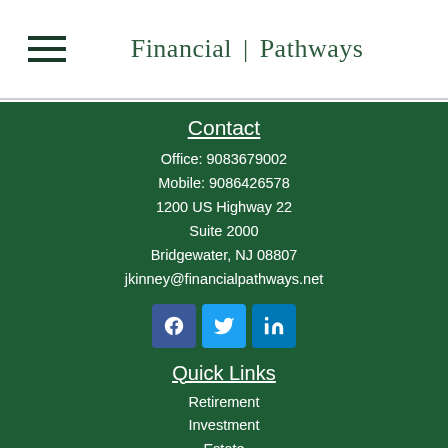Financial | Pathways
Contact
Office: 9083679002
Mobile: 9086426578
1200 US Highway 22
Suite 2000
Bridgewater, NJ 08807
jkinney@financialpathways.net
[Figure (other): Social media icons: Facebook, Twitter, LinkedIn]
Quick Links
Retirement
Investment
Estate
Insurance
Tax
Money